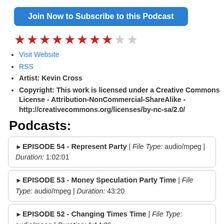Join Now to Subscribe to this Podcast
[Figure (other): Star rating display showing 8 out of 10 stars (8 red filled stars, 1 partial/empty, 1 empty)]
Visit Website
RSS
Artist: Kevin Cross
Copyright: This work is licensed under a Creative Commons License - Attribution-NonCommercial-ShareAlike - http://creativecommons.org/licenses/by-nc-sa/2.0/
Podcasts:
EPISODE 54 - Represent Party | File Type: audio/mpeg | Duration: 1:02:01
EPISODE 53 - Money Speculation Party Time | File Type: audio/mpeg | Duration: 43:20
EPISODE 52 - Changing Times Time | File Type: audio/mpeg | Duration: 1:14:36
EPISODE 51 - More Party Time! | File Type: audio/mpeg |